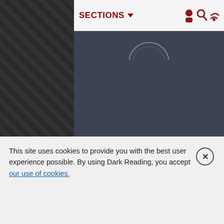SECTIONS ▼
Home    Cookies
CCPA: Do not sell my personal info
Privacy    Terms
Copyright Â© 2020 Informa PLC Informa UK Limited is a company registered in England and Wales with company number
This site uses cookies to provide you with the best user experience possible. By using Dark Reading, you accept our use of cookies.